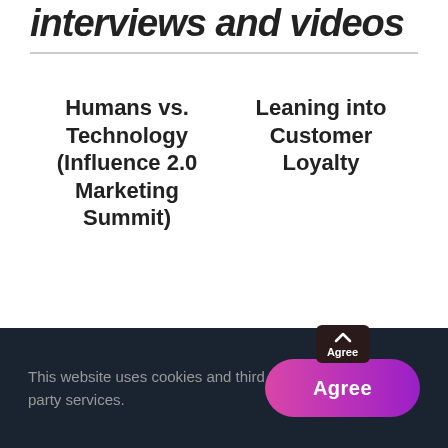interviews and videos
Humans vs. Technology (Influence 2.0 Marketing Summit)
Leaning into Customer Loyalty
This website uses cookies and third party services.
Agree